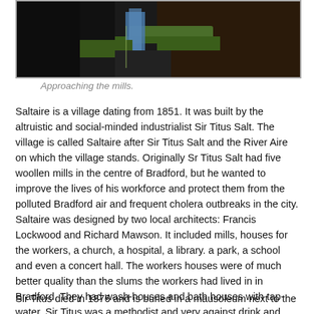[Figure (photo): Photograph of a path approaching the mills, with water and greenery visible]
Approaching the mills.
Saltaire is a village dating from 1851. It was built by the altruistic and social-minded industrialist Sir Titus Salt. The village is called Saltaire after Sir Titus Salt and the River Aire on which the village stands. Originally Sr Titus Salt had five woollen mills in the centre of Bradford, but he wanted to improve the lives of his workforce and protect them from the polluted Bradford air and frequent cholera outbreaks in the city. Saltaire was designed by two local architects: Francis Lockwood and Richard Mawson. It included mills, houses for the workers, a church, a hospital, a library. a park, a school and even a concert hall. The workers houses were of much better quality than the slums the workers had lived in in Bradford. They had wash-houses and bath houses with tap-water. Sir Titus was a methodist and very against drink and gambling. There is now a pub in Saltaire called Don't Tell Titus.
Sir Titus died in 1876 and is buried in a mausoleum next to the